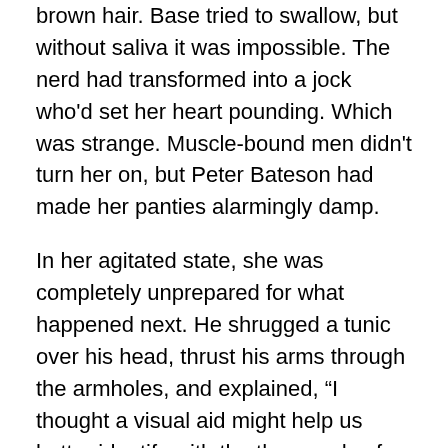brown hair. Base tried to swallow, but without saliva it was impossible. The nerd had transformed into a jock who'd set her heart pounding. Which was strange. Muscle-bound men didn't turn her on, but Peter Bateson had made her panties alarmingly damp.

In her agitated state, she was completely unprepared for what happened next. He shrugged a tunic over his head, thrust his arms through the armholes, and explained, “I thought a visual aid might help us better identify with the thousands of knights faced with the annihilation of the Templar Order by King Philip of France in the fourteenth century.”

Susie gaped at the knight who’d haunted her dreams for weeks, incapable of coherent thought, until Peter said, “The big question is, what happened to the Templars’ account books when the surviving knights supposedly fled